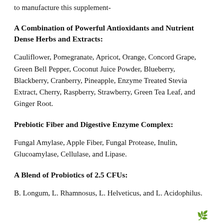to manufacture this supplement-
A Combination of Powerful Antioxidants and Nutrient Dense Herbs and Extracts:
Cauliflower, Pomegranate, Apricot, Orange, Concord Grape, Green Bell Pepper, Coconut Juice Powder, Blueberry, Blackberry, Cranberry, Pineapple, Enzyme Treated Stevia Extract, Cherry, Raspberry, Strawberry, Green Tea Leaf, and Ginger Root.
Prebiotic Fiber and Digestive Enzyme Complex:
Fungal Amylase, Apple Fiber, Fungal Protease, Inulin, Glucoamylase, Cellulase, and Lipase.
A Blend of Probiotics of 2.5 CFUs:
B. Longum, L. Rhamnosus, L. Helveticus, and L. Acidophilus.